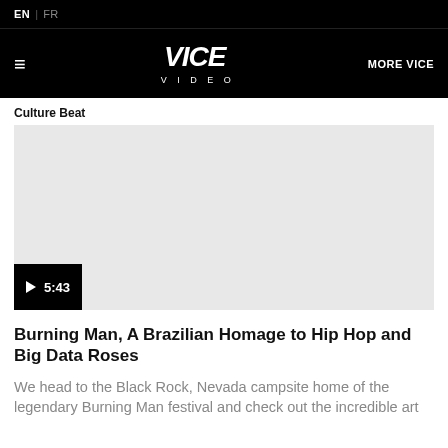EN | FR
VICE VIDEO | MORE VICE
Culture Beat
[Figure (screenshot): Video player with light gray background and a black play button overlay showing duration 5:43]
Burning Man, A Brazilian Homage to Hip Hop and Big Data Roses
We head to the Black Rock, Nevada campsite home of the legendary Burning Man festival and check out the incredible art